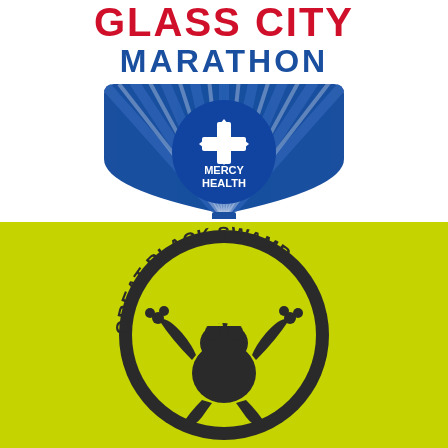[Figure (logo): Glass City Marathon logo featuring 'GLASS CITY' in red and blue text, 'MARATHON' in blue text, a shield/compass-rose shape in blue with radiating stripes, and a circular Mercy Health emblem in the center with a cross symbol and 'MERCY HEALTH' text in white.]
[Figure (logo): Great Black Swamp logo on a chartreuse/yellow-green background. A circular badge with 'GREAT BLACK SWAMP' text arcing around the top, and a silhouette of a frog character in dark color in the center.]